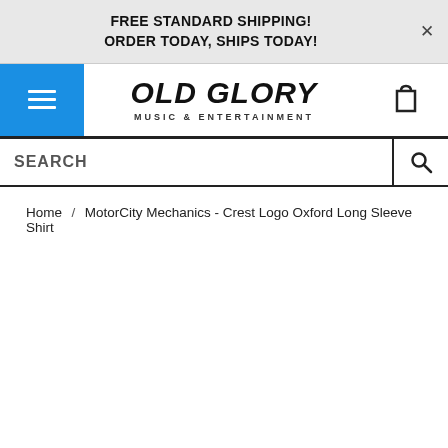FREE STANDARD SHIPPING! ORDER TODAY, SHIPS TODAY!
[Figure (logo): Old Glory Music & Entertainment logo with hamburger menu button and shopping cart icon]
SEARCH
Home / MotorCity Mechanics - Crest Logo Oxford Long Sleeve Shirt